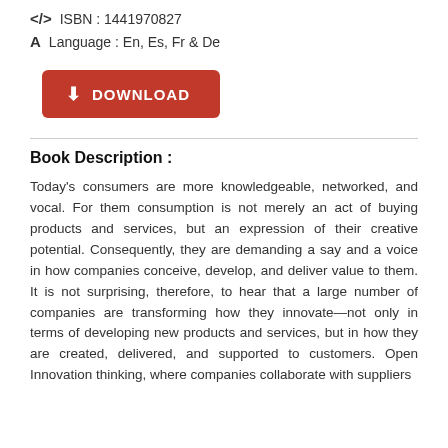ISBN : 1441970827
Language : En, Es, Fr & De
DOWNLOAD
Book Description :
Today's consumers are more knowledgeable, networked, and vocal. For them consumption is not merely an act of buying products and services, but an expression of their creative potential. Consequently, they are demanding a say and a voice in how companies conceive, develop, and deliver value to them. It is not surprising, therefore, to hear that a large number of companies are transforming how they innovate—not only in terms of developing new products and services, but in how they are created, delivered, and supported to customers. Open Innovation thinking, where companies collaborate with suppliers